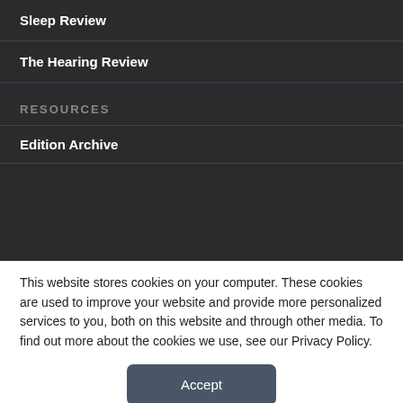Sleep Review
The Hearing Review
RESOURCES
Edition Archive
This website stores cookies on your computer. These cookies are used to improve your website and provide more personalized services to you, both on this website and through other media. To find out more about the cookies we use, see our Privacy Policy.
Accept